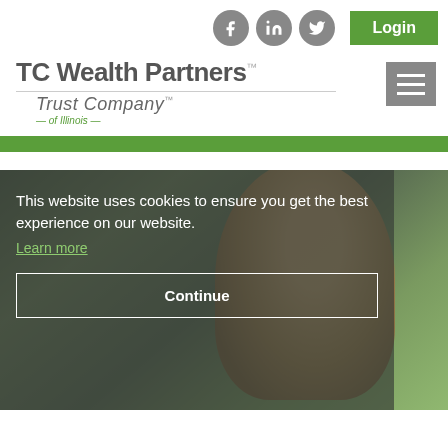Social icons: Facebook, LinkedIn, Twitter | Login button
[Figure (logo): TC Wealth Partners logo with Trust Company of Illinois sub-brand]
[Figure (photo): Background hero photo of a smiling woman outdoors with green bokeh background, partially obscured by dark overlay with cookie consent banner]
This website uses cookies to ensure you get the best experience on our website.
Learn more
Continue